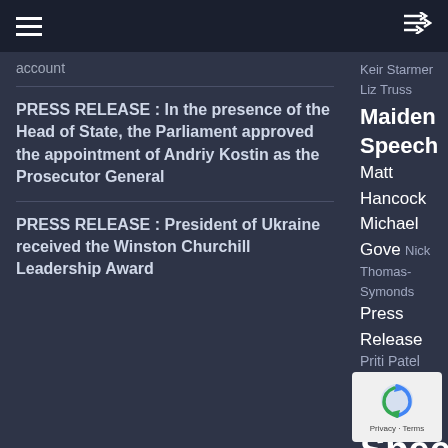account
PRESS RELEASE : In the presence of the Head of State, the Parliament approved the appointment of Andriy Kostin as the Prosecutor General
PRESS RELEASE : President of Ukraine received the Winston Churchill Leadership Award
Keir Starmer Liz Truss
Maiden Speech
Matt Hancock
Michael Gove Nick Thomas-Symonds
Press Release Priti Patel Rishi Sunak Sadiq Khan Sajid Javid
Speeches
S Theresa May
Volodymyr Zelenskyy
[Figure (logo): Google reCAPTCHA logo with Privacy - Terms text]